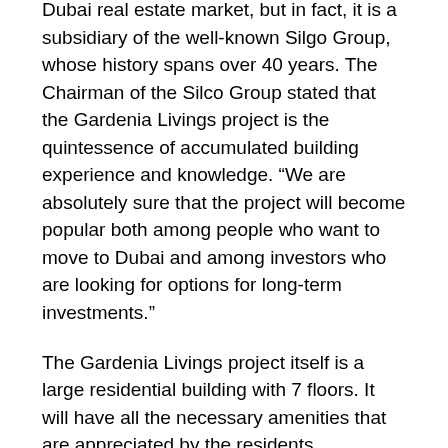Dubai real estate market, but in fact, it is a subsidiary of the well-known Silgo Group, whose history spans over 40 years. The Chairman of the Silco Group stated that the Gardenia Livings project is the quintessence of accumulated building experience and knowledge. “We are absolutely sure that the project will become popular both among people who want to move to Dubai and among investors who are looking for options for long-term investments.”
The Gardenia Livings project itself is a large residential building with 7 floors. It will have all the necessary amenities that are appreciated by the residents.
The area of the residential complex is 5185 square meters.
It will have 156 apartments.
The launch of this project is scheduled for the second quarter